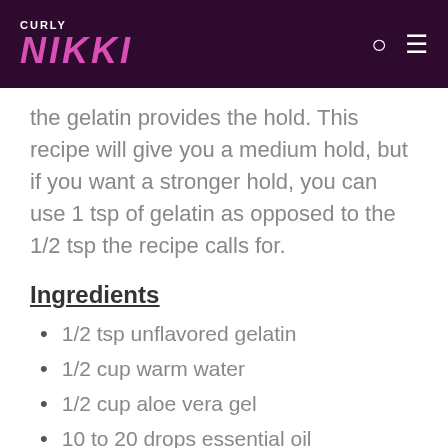CURLY NIKKI
the gelatin provides the hold. This recipe will give you a medium hold, but if you want a stronger hold, you can use 1 tsp of gelatin as opposed to the 1/2 tsp the recipe calls for.
Ingredients
1/2 tsp unflavored gelatin
1/2 cup warm water
1/2 cup aloe vera gel
10 to 20 drops essential oil
4-5 drops vitamin E